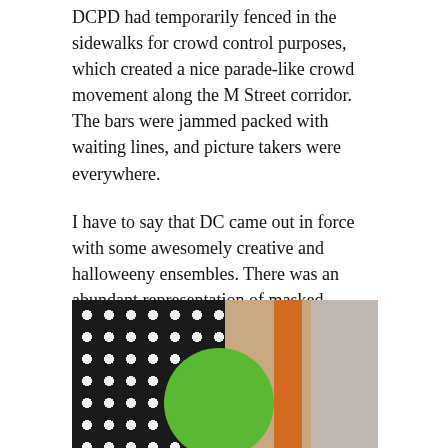DCPD had temporarily fenced in the sidewalks for crowd control purposes, which created a nice parade-like crowd movement along the M Street corridor.  The bars were jammed packed with waiting lines, and picture takers were everywhere.
I have to say that DC came out in force with some awesomely creative and halloweeny ensembles. There was an abundant representation of masked Ahmadinejads, vampires, oodles of sexily clad girls (devils/angels/superheroes, etc.,) ghosties and ghoulies, Tranformers, soccer hooligans, hobbits, etc. There was also an Olympic judging panel stationed at J. Paul's throwing out costume ratings.
[Figure (photo): Photo of a person in a Halloween costume outdoors, wearing a large green round head/mask, with a black polka-dot patterned backdrop on the left and an orange/brick building on the right.]